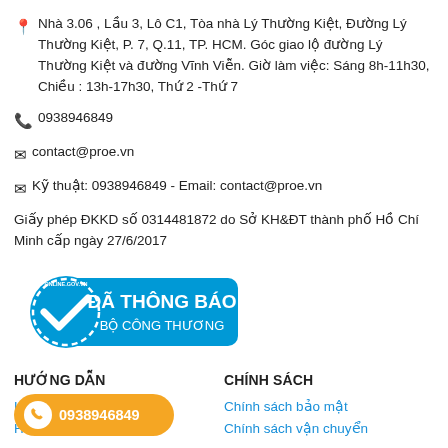📍 Nhà 3.06 , Lầu 3, Lô C1, Tòa nhà Lý Thường Kiệt, Đường Lý Thường Kiệt, P. 7, Q.11, TP. HCM. Góc giao lộ đường Lý Thường Kiệt và đường Vĩnh Viễn. Giờ làm việc: Sáng 8h-11h30, Chiều : 13h-17h30, Thứ 2 -Thứ 7
📞 0938946849
✉ contact@proe.vn
✉ Kỹ thuật: 0938946849 - Email: contact@proe.vn
Giấy phép ĐKKD số 0314481872 do Sở KH&ĐT thành phố Hồ Chí Minh cấp ngày 27/6/2017
[Figure (logo): Đã Thông Báo Bộ Công Thương badge - a blue circular/rectangular badge with checkmark and text]
HƯỚNG DẪN
CHÍNH SÁCH
Hướng dẫn mua hàng
Hướng dẫn thanh toán
Chính sách bảo mật
Chính sách vận chuyển